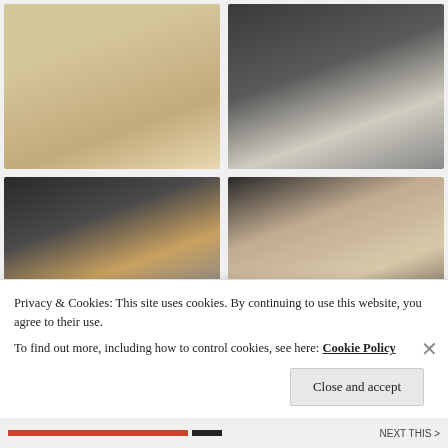[Figure (photo): Top-left photo: mashed banana dough in a white bowl, yellowish chunky texture]
[Figure (photo): Top-right photo: flour being whisked in a dark bowl, whisk visible at top right]
[Figure (photo): Bottom-left photo: dark bowl with flour, brown sugar, egg yolk and other dry ingredients unmixed]
[Figure (photo): Bottom-right photo: mixed batter in a dark bowl, beige/tan color with chunky texture]
Privacy & Cookies: This site uses cookies. By continuing to use this website, you agree to their use.
To find out more, including how to control cookies, see here: Cookie Policy
Close and accept